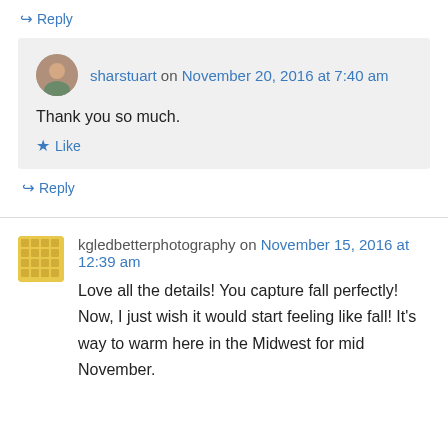↪ Reply
sharstuart on November 20, 2016 at 7:40 am
Thank you so much.
★ Like
↪ Reply
kgledbetterphotography on November 15, 2016 at 12:39 am
Love all the details! You capture fall perfectly! Now, I just wish it would start feeling like fall! It's way to warm here in the Midwest for mid November.